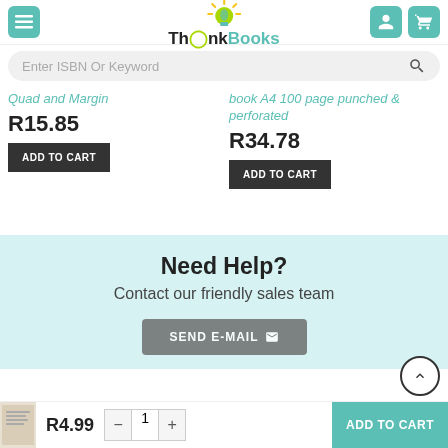[Figure (screenshot): ThinkBooks e-commerce website header with teal hamburger menu icon, ThinkBooks logo with lightbulb graphic, user icon, and cart icon on teal background]
[Figure (screenshot): Search bar with placeholder text 'Enter ISBN Or Keyword' and search icon on grey rounded background]
Quad and Margin
R15.85
ADD TO CART
book A4 100 page punched & perforated
R34.78
ADD TO CART
Need Help?
Contact our friendly sales team
SEND E-MAIL
R4.99
ADD TO CART